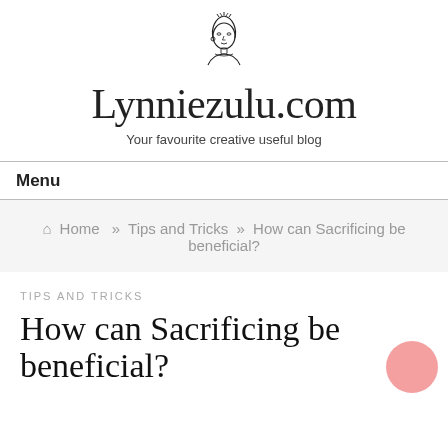[Figure (logo): Illustrated line-art logo of a woman's face/bust with stylized hair and earring, above the site title]
Lynniezulu.com
Your favourite creative useful blog
Menu
🏠 Home » Tips and Tricks » How can Sacrificing be beneficial?
TIPS AND TRICKS
How can Sacrificing be beneficial?